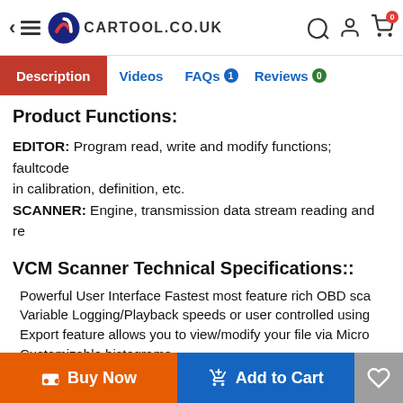CARTOOL.CO.UK
Description | Videos | FAQs 1 | Reviews 0
Product Functions:
EDITOR: Program read, write and modify functions; faultcode in calibration, definition, etc.
SCANNER: Engine, transmission data stream reading and re
VCM Scanner Technical Specifications::
Powerful User Interface Fastest most feature rich OBD sca
Variable Logging/Playback speeds or user controlled using
Export feature allows you to view/modify your file via Micro
Customizable histograms
Histogram user defined filters
Buy Now | Add to Cart | Wishlist